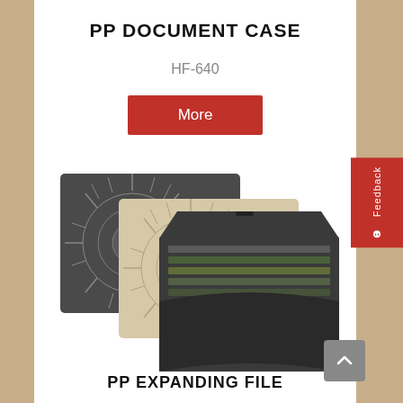PP DOCUMENT CASE
HF-640
More
[Figure (photo): Three PP document cases with decorative sunburst pattern - two flat closed cases (dark gray and beige/tan) and one open expanding file folder in dark color showing multiple pockets/sections]
PP EXPANDING FILE